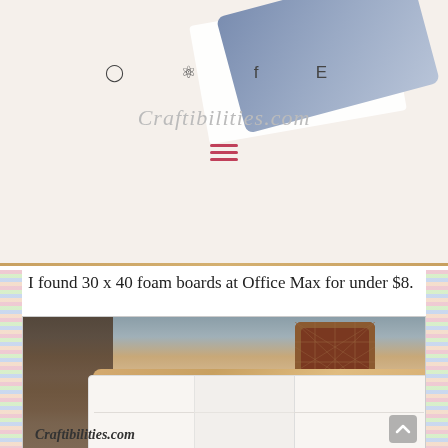⊙ ⊕ f E  Craftibilities.com
I found 30 x 40 foam boards at Office Max for under $8.
[Figure (photo): A foam board lying on a wooden dining table with a padded chair visible in the background and a dark cabinet behind. The Craftibilities.com watermark appears on the photo.]
Craftibilities.com